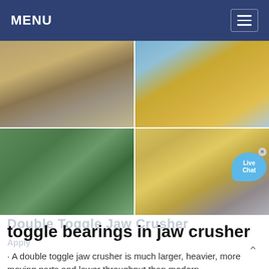MENU
[Figure (photo): Four-image grid showing mining/crushing equipment: top-left shows yellow crushing plant in desert setting; top-right shows yellow cone crusher and conveyor equipment; bottom-left shows green vertical mill/grinding equipment indoors; bottom-right shows yellow mobile crushing/screening plant outdoors.]
toggle bearings in jaw crusher
· A double toggle jaw crusher is much larger, heavier, more moving parts and lower throughput than modern